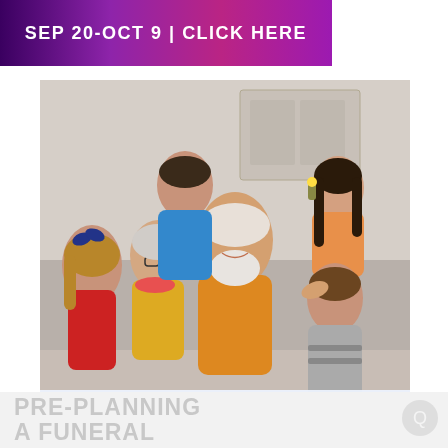[Figure (other): Purple/magenta banner advertisement with text SEP 20-OCT 9 | CLICK HERE]
[Figure (photo): Multi-generational family photo showing grandparents, parents, and children gathered together smiling indoors]
PHILADELPHIA JEWISH EXPONENT IS HERE FOR YOU
Your voluntary contribution supports our efforts to deliver content that engages and helps strengthen the Jewish community in the Philadelphia area.
CONTRIBUTE
PRE-PLANNING
A FUNERAL